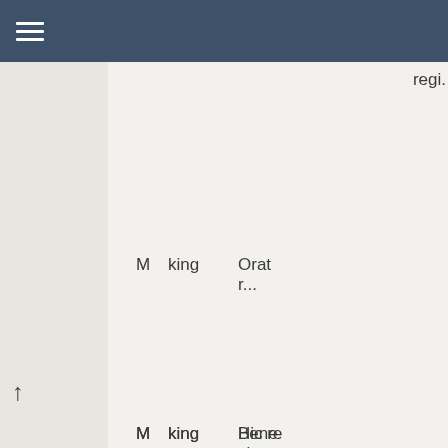≡ (navigation menu)
regi.
| M | king | text |
| --- | --- | --- |
| M | king | Orat
r... |
| M | king | Hic re
virga |
| M | king | Bene |